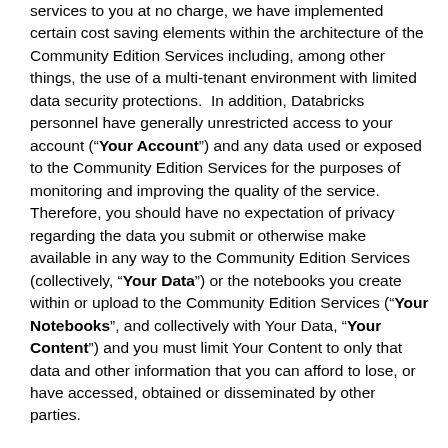services to you at no charge, we have implemented certain cost saving elements within the architecture of the Community Edition Services including, among other things, the use of a multi-tenant environment with limited data security protections.  In addition, Databricks personnel have generally unrestricted access to your account (“Your Account”) and any data used or exposed to the Community Edition Services for the purposes of monitoring and improving the quality of the service.  Therefore, you should have no expectation of privacy regarding the data you submit or otherwise make available in any way to the Community Edition Services (collectively, “Your Data”) or the notebooks you create within or upload to the Community Edition Services (“Your Notebooks”, and collectively with Your Data, “Your Content”) and you must limit Your Content to only that data and other information that you can afford to lose, or have accessed, obtained or disseminated by other parties.